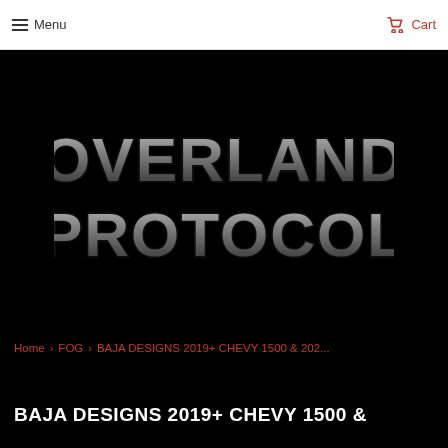Menu  Cart
[Figure (logo): Overland Protocol logo — stylized metallic 3D text reading OVERLAND PROTOCOL on a black background]
Home › FOG › BAJA DESIGNS 2019+ CHEVY 1500 & 202...
BAJA DESIGNS 2019+ CHEVY 1500 &